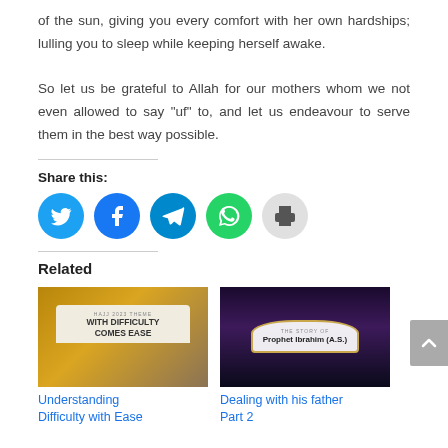of the sun, giving you every comfort with her own hardships; lulling you to sleep while keeping herself awake.
So let us be grateful to Allah for our mothers whom we not even allowed to say “uf” to, and let us endeavour to serve them in the best way possible.
Share this:
[Figure (infographic): Social sharing icons: Twitter (cyan), Facebook (blue), Telegram (blue), WhatsApp (green), Print (gray)]
Related
[Figure (photo): Hajj 2023 theme card: WITH DIFFICULTY COMES EASE, torn paper style on golden background]
Understanding Difficulty with Ease
[Figure (photo): The Story of Prophet Ibrahim (A.S.) - decorative frame on dark purple background]
Dealing with his father Part 2